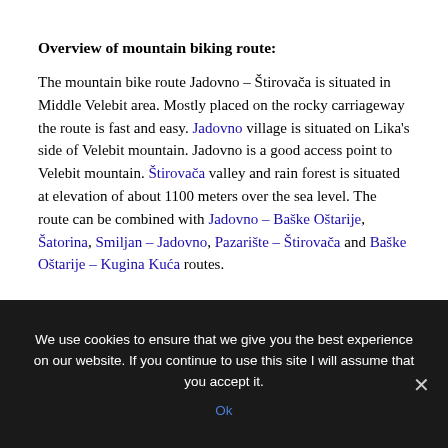Overview of mountain biking route:
The mountain bike route Jadovno – Štirovača is situated in Middle Velebit area. Mostly placed on the rocky carriageway the route is fast and easy. Jadovno village is situated on Lika's side of Velebit mountain. Jadovno is a good access point to Velebit mountain. Štirovača valley and rain forest is situated at elevation of about 1100 meters over the sea level. The route can be combined with Jadovno – Baške Oštarije, Šatorina, Smiljan – Jadovno, Pazarište – Štirovača and Baške Oštarije – Kugina Kuća routes.
We use cookies to ensure that we give you the best experience on our website. If you continue to use this site I will assume that you accept it.